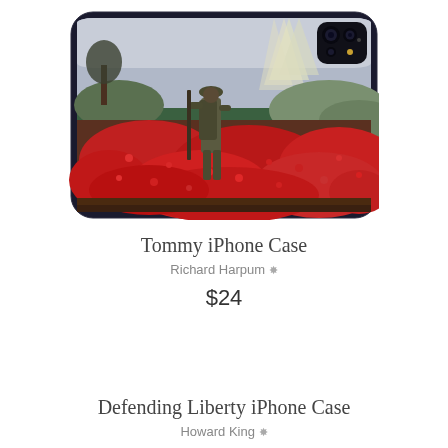[Figure (photo): iPhone case featuring a painting of a WWI soldier walking through a field of red poppies, with rays of sunlight in the sky. The phone case is dark/black with rounded corners and a camera cutout visible in the top right.]
Tommy iPhone Case
Richard Harpum ♡
$24
Defending Liberty iPhone Case
Howard King ♡